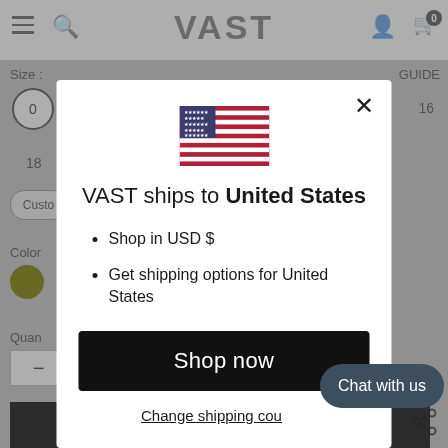[Figure (screenshot): Background of e-commerce product page (VAST brand) showing navigation bar with hamburger menu, search icon, VAST logo, user icon and cart icon with 0. Page shows size selector (0, 16, 18), Custom button, Color label with olive circle, Quantity label, quantity input box with minus button, and ADD TO CART black button at bottom.]
[Figure (illustration): US flag emoji/image displayed centered in the modal dialog.]
VAST ships to United States
Shop in USD $
Get shipping options for United States
Shop now
Change shipping country
Chat with us